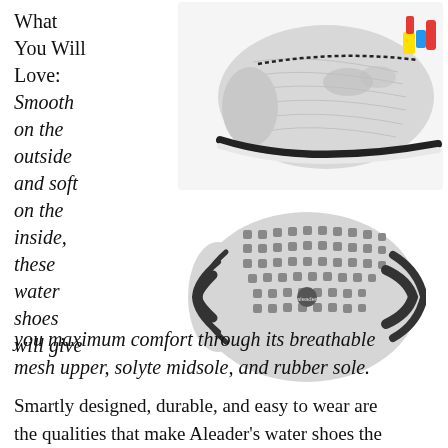What You Will Love: Smooth on the outside and soft on the inside, these water shoes will give you maximum comfort through its breathable mesh upper, solyte midsole, and rubber sole.
[Figure (photo): Two photos of a water shoe: top view showing gray knit upper with colorful zipper detail and black sole trim; bottom view showing the rubber outsole with traction pattern and dots.]
Smartly designed, durable, and easy to wear are the qualities that make Aleader's water shoes the